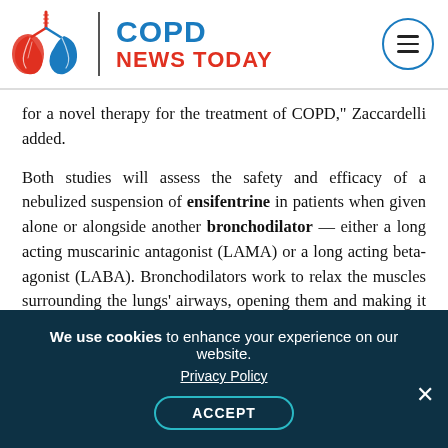[Figure (logo): COPD News Today logo with illustrated lungs icon, vertical divider, and text 'COPD NEWS TODAY'. A teal circular hamburger menu icon is on the right.]
for a novel therapy for the treatment of COPD," Zaccardelli added.
Both studies will assess the safety and efficacy of a nebulized suspension of ensifentrine in patients when given alone or alongside another bronchodilator — either a long acting muscarinic antagonist (LAMA) or a long acting beta-agonist (LABA). Bronchodilators work to relax the muscles surrounding the lungs' airways, opening them and making it easier for patients to breathe.
Trial participants will be randomly assigned to
We use cookies to enhance your experience on our website. Privacy Policy ACCEPT